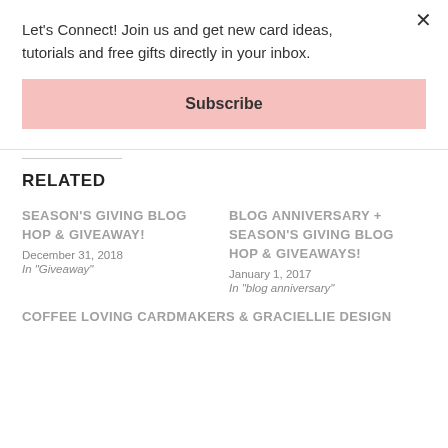Let's Connect! Join us and get new card ideas, tutorials and free gifts directly in your inbox.
Subscribe
RELATED
SEASON'S GIVING BLOG HOP & GIVEAWAY!
December 31, 2018
In "Giveaway"
BLOG ANNIVERSARY + SEASON'S GIVING BLOG HOP & GIVEAWAYS!
January 1, 2017
In "blog anniversary"
COFFEE LOVING CARDMAKERS & GRACIELLIE DESIGN